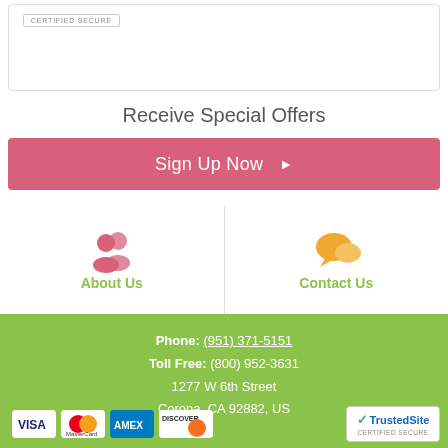[Figure (screenshot): Top white box with 'CERTIFIED SECURE' badge text]
Receive Special Offers
[Figure (other): Pink button with 'Sign Up Now' and right arrow]
[Figure (infographic): Two columns: About Us (pink people icon, green label) and Contact Us (orange chat bubble icon, green label) separated by vertical line]
Phone: (951) 371-5151  Toll Free: (800) 952-3631  1277 W 6th Street  Corona, CA 92882, US
[Figure (logo): Payment method logos: VISA, MasterCard, American Express, Discover]
[Figure (logo): TrustedSite CERTIFIED SECURE badge]